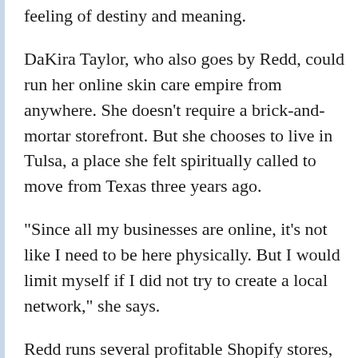feeling of destiny and meaning.
DaKira Taylor, who also goes by Redd, could run her online skin care empire from anywhere. She doesn't require a brick-and-mortar storefront. But she chooses to live in Tulsa, a place she felt spiritually called to move from Texas three years ago.
“Since all my businesses are online, it’s not like I need to be here physically. But I would limit myself if I did not try to create a local network,” she says.
Redd runs several profitable Shopify stores, with two of her businesses, byREDD Beauty and byREDD Wholesale, providing both direct-to-consumer and private label products through